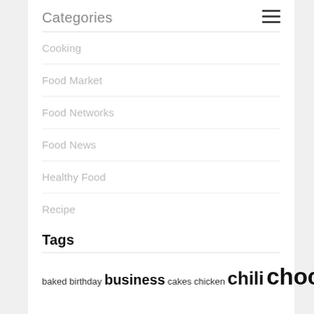Categories
Cooking
Food Market
Food Networks
Food News
Healthy Food
Recipe
Tags
baked birthday business cakes chicken chili chocolate chops cooking cream delicious dessert desserts dinner education foods garlic ground health healthy